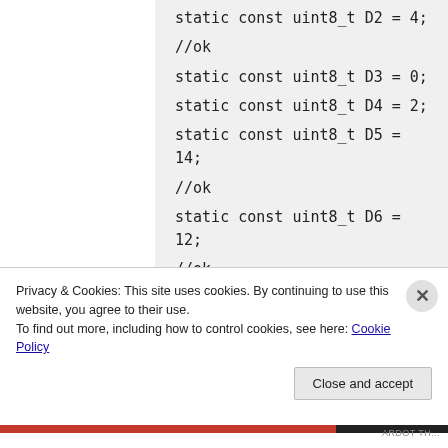static const uint8_t D2 = 4;
//ok
static const uint8_t D3 = 0;
static const uint8_t D4 = 2;
static const uint8_t D5 = 14;
//ok
static const uint8_t D6 = 12;
//ok
static const uint8_t D7 = 13;
static const uint8_t D8 = 15;
static const uint8_t D9 = 3;
static const uint8_t D10 = 1;
Privacy & Cookies: This site uses cookies. By continuing to use this website, you agree to their use.
To find out more, including how to control cookies, see here: Cookie Policy
Close and accept